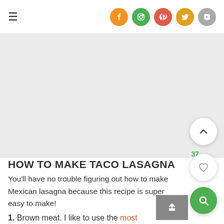≡ [social icons: Facebook, Instagram, Pinterest, Twitter, YouTube]
[Figure (photo): Large image placeholder area (gray background) for taco lasagna food photo]
HOW TO MAKE TACO LASAGNA
You'll have no trouble figuring out how to make Mexican lasagna because this recipe is super easy to make!
1. Brown meat. I like to use the most...